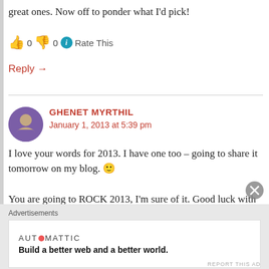great ones. Now off to ponder what I'd pick!
👍 0  👎 0  ℹ Rate This
Reply →
GHENET MYRTHIL
January 1, 2013 at 5:39 pm
I love your words for 2013. I have one too – going to share it tomorrow on my blog. 🙂
You are going to ROCK 2013, I'm sure of it. Good luck with your Jan Plan revisions this month! I'm rooting for
Advertisements
AUTOMATTIC
Build a better web and a better world.